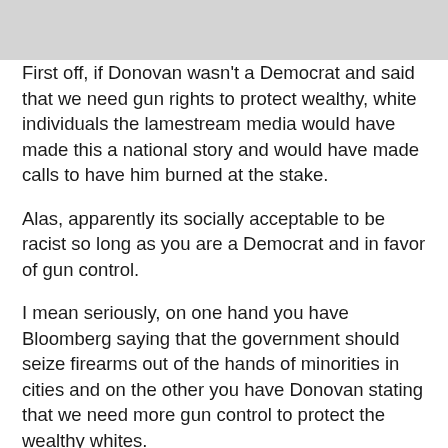First off, if Donovan wasn't a Democrat and said that we need gun rights to protect wealthy, white individuals the lamestream media would have made this a national story and would have made calls to have him burned at the stake.
Alas, apparently its socially acceptable to be racist so long as you are a Democrat and in favor of gun control.
I mean seriously, on one hand you have Bloomberg saying that the government should seize firearms out of the hands of minorities in cities and on the other you have Donovan stating that we need more gun control to protect the wealthy whites.
Gun control has finally grown out of its dye job and its racist roots are showing.